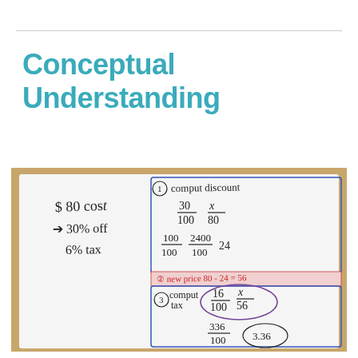Conceptual Understanding
[Figure (photo): A handwritten math worksheet on paper showing a discount and tax problem. Left side shows: $80 cost, 30% off, 6% tax. Right side has two boxed sections: (1) compute discount with fractions 30/100 = x/80 and 100/100 = 2400/100 = 24; (2) new price 80-24=56; (3) compute tax with fractions 16/100 = x/56 (circled), 336/100 = 3.36; and 3.36 at bottom.]